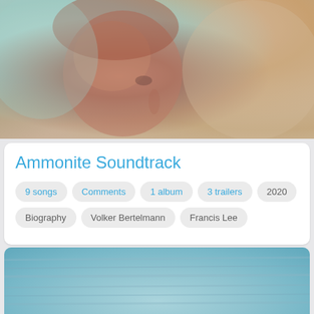[Figure (photo): Close-up side profile of a person with short reddish hair against a soft blurred sandy/teal background — movie still from Ammonite]
Ammonite Soundtrack
9 songs
Comments
1 album
3 trailers
2020
Biography
Volker Bertelmann
Francis Lee
[Figure (photo): Blurred teal/blue water or ocean texture image — partial view at bottom of page]